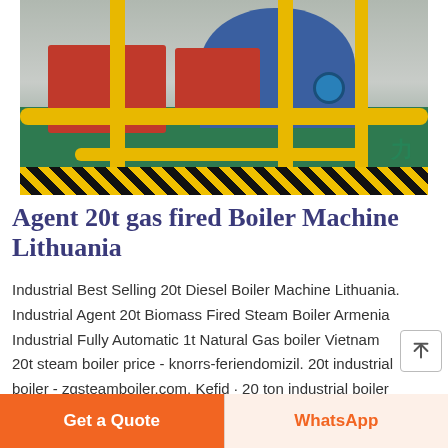[Figure (photo): Industrial boiler room with blue cylindrical boiler, red combustion units, yellow piping, and safety striped flooring in a factory setting]
Agent 20t gas fired Boiler Machine Lithuania
Industrial Best Selling 20t Diesel Boiler Machine Lithuania. Industrial Agent 20t Biomass Fired Steam Boiler Armenia Industrial Fully Automatic 1t Natural Gas boiler Vietnam 20t steam boiler price - knorrs-feriendomizil. 20t industrial boiler - zgsteamboiler.com. Kefid · 20 ton industrial boiler have many types there are fire Read More
Get a Quote
WhatsApp